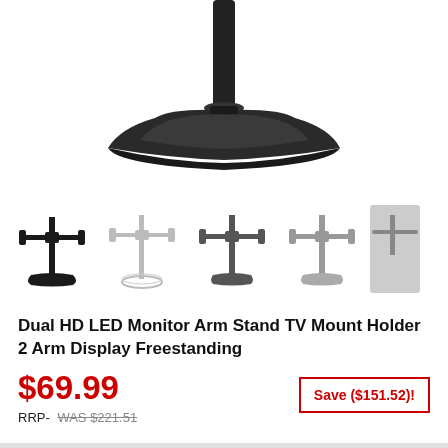[Figure (photo): Main product photo showing the base and pole of a dual monitor arm stand, dark background cropped at top]
[Figure (photo): Thumbnail row showing 5 views of the dual monitor arm stand product from different angles]
Dual HD LED Monitor Arm Stand TV Mount Holder 2 Arm Display Freestanding
$69.99
RRP- WAS $221.51
Save ($151.52)!